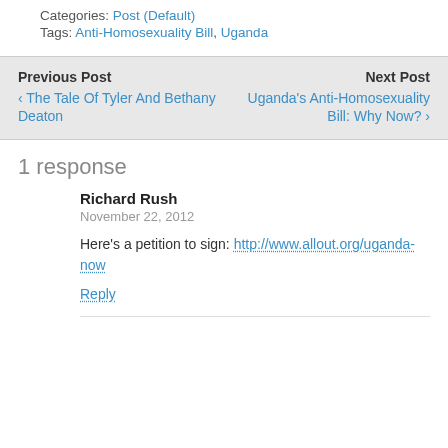Categories: Post (Default)
Tags: Anti-Homosexuality Bill, Uganda
Previous Post
‹ The Tale Of Tyler And Bethany Deaton
Next Post
Uganda's Anti-Homosexuality Bill: Why Now? ›
1 response
Richard Rush
November 22, 2012
Here's a petition to sign: http://www.allout.org/uganda-now
Reply